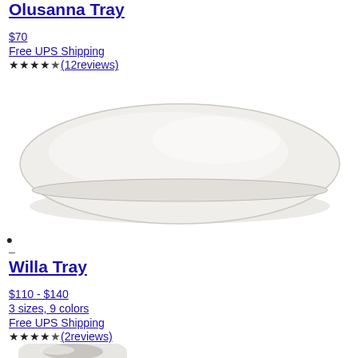Olusanna Tray
$70
Free UPS Shipping
★★★★☆(12reviews)
[Figure (photo): A white oval/round ceramic tray viewed from a slight angle, showing a smooth white surface with a slightly beveled edge, photographed on a white background.]
•
–
Willa Tray
$110 - $140
3 sizes, 9 colors
Free UPS Shipping
★★★★☆(2reviews)
[Figure (photo): Bottom portion of a white cylindrical ceramic tray or vessel, showing a thick round rim and hollow center, on a white background.]